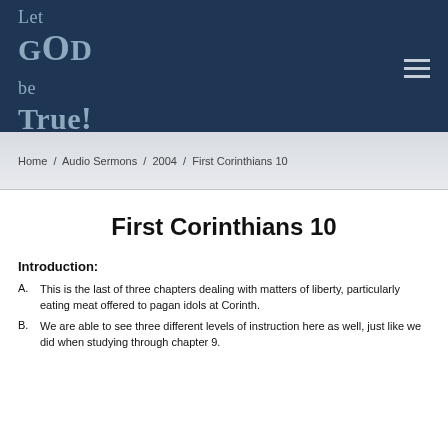[Figure (logo): Let God be True! website logo in dark navy header with hamburger menu icon]
Home / Audio Sermons / 2004 / First Corinthians 10
First Corinthians 10
Introduction:
A. This is the last of three chapters dealing with matters of liberty, particularly eating meat offered to pagan idols at Corinth.
B. We are able to see three different levels of instruction here as well, just like we did when studying through chapter 9.